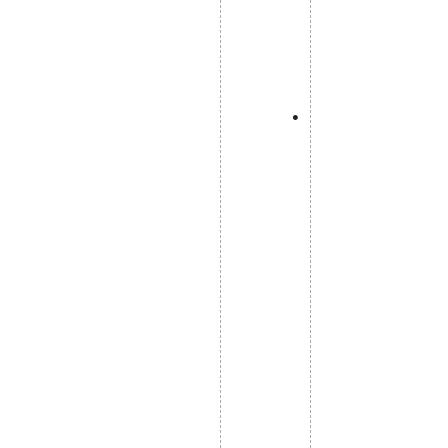ub .GV875 .6 .P35200 5_Springtrain